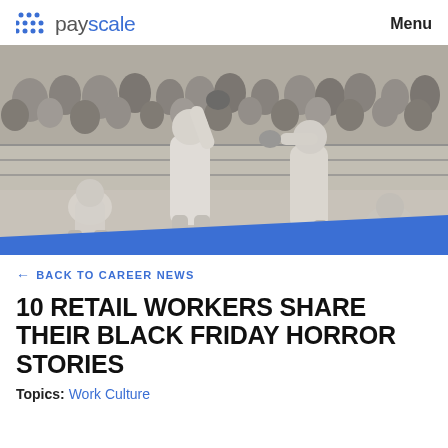payscale   Menu
[Figure (illustration): Black and white historical illustration of two boxers fighting in a ring surrounded by a crowd of spectators, with ropes visible and other figures at ringside.]
← BACK TO CAREER NEWS
10 RETAIL WORKERS SHARE THEIR BLACK FRIDAY HORROR STORIES
Topics: Work Culture